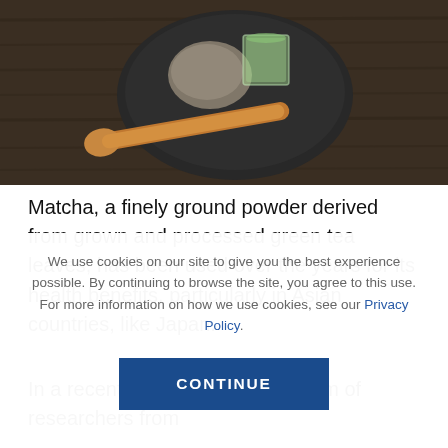[Figure (photo): Overhead photo of a dark ceramic plate/saucer with a glass of green matcha tea, a smooth stone, and a wooden spoon, on a dark wood surface.]
Matcha, a finely ground powder derived from grown and processed green tea leaves, has been used over the years for its health benefits, particularly in Asian countries, like Japan.
In a recent Japanese study, a team of researchers from
We use cookies on our site to give you the best experience possible. By continuing to browse the site, you agree to this use. For more information on how we use cookies, see our Privacy Policy.
CONTINUE